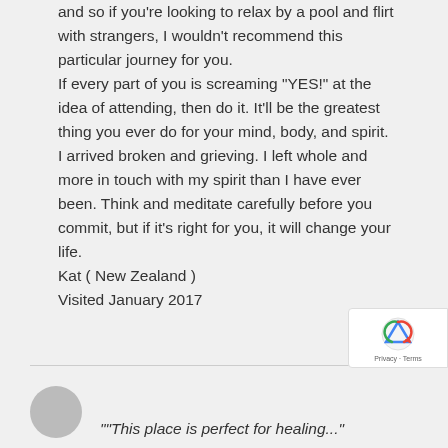and so if you're looking to relax by a pool and flirt with strangers, I wouldn't recommend this particular journey for you.
If every part of you is screaming "YES!" at the idea of attending, then do it. It'll be the greatest thing you ever do for your mind, body, and spirit.
I arrived broken and grieving. I left whole and more in touch with my spirit than I have ever been. Think and meditate carefully before you commit, but if it's right for you, it will change your life.
Kat ( New Zealand )
Visited January 2017
""This place is perfect for healing...""